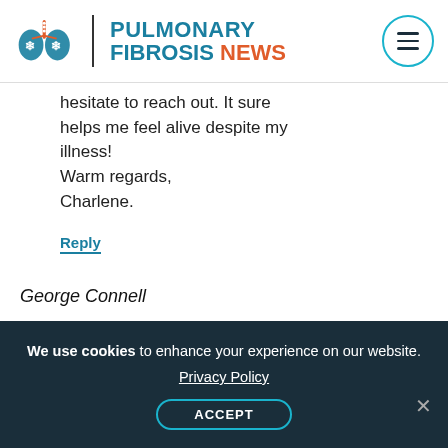[Figure (logo): Pulmonary Fibrosis News logo with lung graphic and brand name]
hesitate to reach out. It sure helps me feel alive despite my illness!
Warm regards,
Charlene.
Reply
George Connell
Hello Charlene,
Your perspective on travel, oceans reminds
We use cookies to enhance your experience on our website.
Privacy Policy
ACCEPT